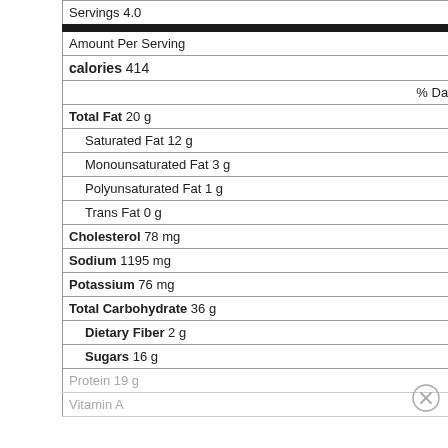| Servings 4.0 |  |
| Amount Per Serving |  |
| calories 414 |  |
|  | % Daily Value * |
| Total Fat 20 g | 31 % |
| Saturated Fat 12 g | 61 % |
| Monounsaturated Fat 3 g |  |
| Polyunsaturated Fat 1 g |  |
| Trans Fat 0 g |  |
| Cholesterol 78 mg | 26 % |
| Sodium 1195 mg | 50 % |
| Potassium 76 mg | 2 % |
| Total Carbohydrate 36 g | 12 % |
| Dietary Fiber 2 g | 6 % |
| Sugars 16 g |  |
| Protein 19 g | 37 % |
| Vitamin A | 16 % |